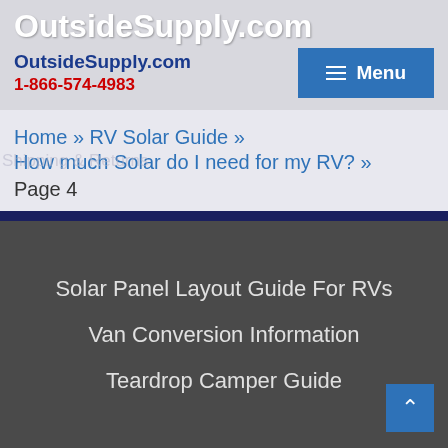OutsideSupply.com
OutsideSupply.com 1-866-574-4983 Menu
Home » RV Solar Guide » How much Solar do I need for my RV? » Page 4
Solar Panel Layout Guide For RVs
Van Conversion Information
Teardrop Camper Guide